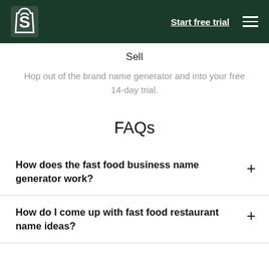Shopify — Start free trial
Sell
Hop out of the brand name generator and into your free 14-day trial.
FAQs
How does the fast food business name generator work?
How do I come up with fast food restaurant name ideas?